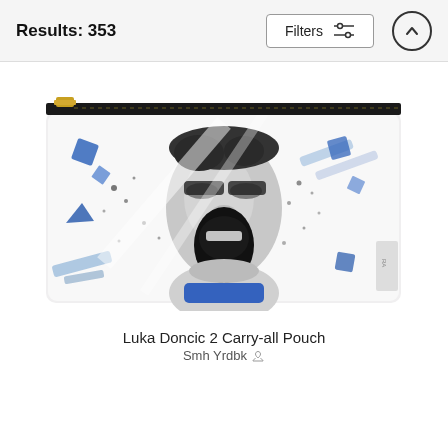Results: 353
[Figure (screenshot): A carry-all pouch product image featuring a graphic illustration of Luka Doncic shouting/celebrating with blue geometric shapes and ink splatter effects on a white background. The pouch has a gold zipper along the top and a black zipper tape.]
Luka Doncic 2 Carry-all Pouch
Smh Yrdbk